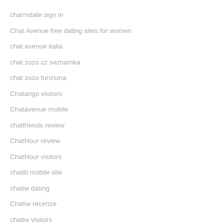charmdate sign in
Chat Avenue free dating sites for women
chat avenue italia
chat zozo cz seznamka
chat zozo funziona
Chatango visitors
Chatavenue mobile
chatfriends review
ChatHour review
ChatHour visitors
chatib mobile site
chatiw dating
Chatiw recenze
chatiw visitors
chatki cs review